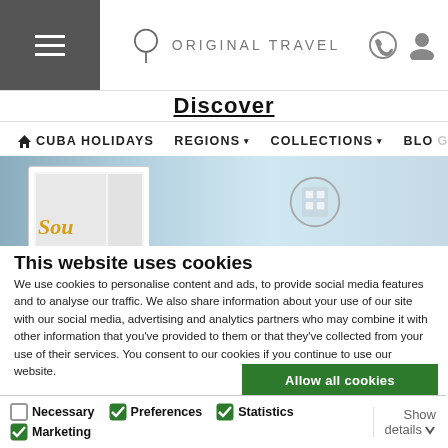Original Travel — Cuba Holidays navigation header with hamburger menu, logo, phone and account icons
[Figure (screenshot): Hero banner image showing souvenir postcard with yellow text and vehicle window]
This website uses cookies
We use cookies to personalise content and ads, to provide social media features and to analyse our traffic. We also share information about your use of our site with our social media, advertising and analytics partners who may combine it with other information that you've provided to them or that they've collected from your use of their services. You consent to our cookies if you continue to use our website.
Allow all cookies
Allow selection
Use necessary cookies only
Necessary  Preferences  Statistics  Marketing  Show details